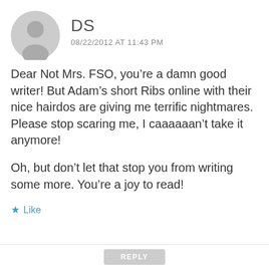DS
08/22/2012 AT 11:43 PM
Dear Not Mrs. FSO, you’re a damn good writer! But Adam’s short Ribs online with their nice hairdos are giving me terrific nightmares. Please stop scaring me, I caaaaaan’t take it anymore!
Oh, but don’t let that stop you from writing some more. You’re a joy to read!
★ Like
REPLY